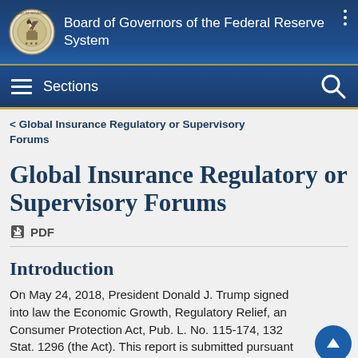Board of Governors of the Federal Reserve System
< Global Insurance Regulatory or Supervisory Forums
Global Insurance Regulatory or Supervisory Forums
PDF
Introduction
On May 24, 2018, President Donald J. Trump signed into law the Economic Growth, Regulatory Relief, and Consumer Protection Act, Pub. L. No. 115-174, 132 Stat. 1296 (the Act). This report is submitted pursuant